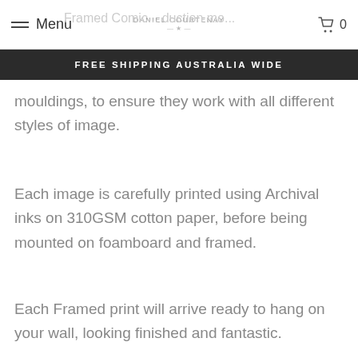Menu | Daniel Courtenay | 0
FREE SHIPPING AUSTRALIA WIDE
mouldings, to ensure they work with all different styles of image.
Each image is carefully printed using Archival inks on 310GSM cotton paper, before being mounted on foamboard and framed.
Each Framed print will arrive ready to hang on your wall, looking finished and fantastic.